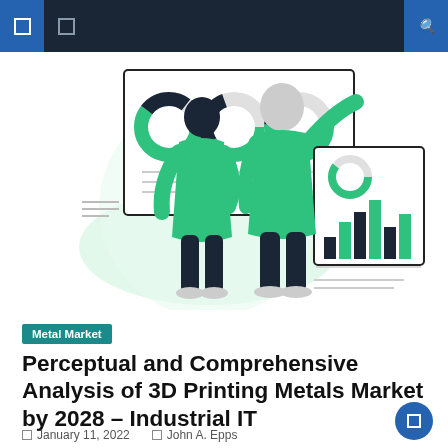Navigation bar with menu icons and search
[Figure (illustration): Two people in green outfits viewed from behind, standing in front of a display board showing donut charts and bar charts. The illustration uses green and dark navy colors with a minimalist flat design style.]
Metal Market
Perceptual and Comprehensive Analysis of 3D Printing Metals Market by 2028 – Industrial IT
January 11, 2022   John A. Epps